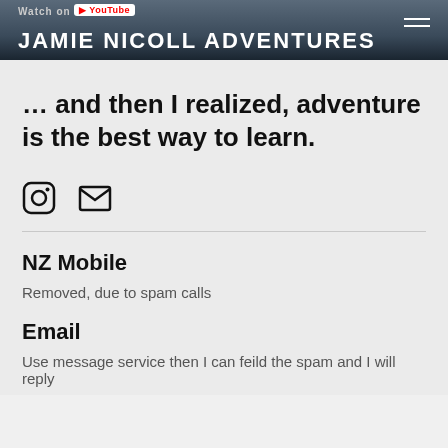JAMIE NICOLL ADVENTURES
… and then I realized, adventure is the best way to learn.
[Figure (illustration): Instagram and email social media icons]
NZ Mobile
Removed, due to spam calls
Email
Use message service then I can feild the spam and I will reply